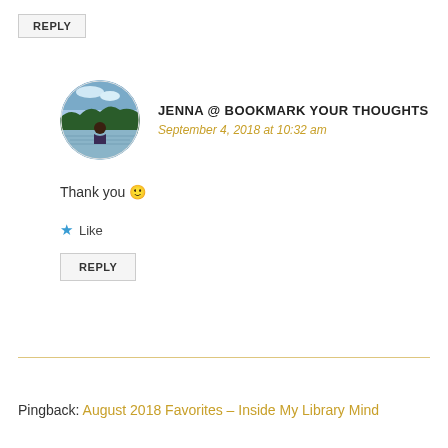REPLY
[Figure (photo): Circular avatar photo of a person sitting by a lake with trees and sky in the background]
JENNA @ BOOKMARK YOUR THOUGHTS
September 4, 2018 at 10:32 am
Thank you 🙂
★ Like
REPLY
Pingback: August 2018 Favorites – Inside My Library Mind